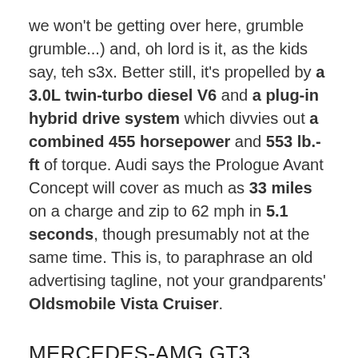we won't be getting over here, grumble grumble...) and, oh lord is it, as the kids say, teh s3x. Better still, it's propelled by a 3.0L twin-turbo diesel V6 and a plug-in hybrid drive system which divvies out a combined 455 horsepower and 553 lb.-ft of torque. Audi says the Prologue Avant Concept will cover as much as 33 miles on a charge and zip to 62 mph in 5.1 seconds, though presumably not at the same time. This is, to paraphrase an old advertising tagline, not your grandparents' Oldsmobile Vista Cruiser.
MERCEDES-AMG GT3